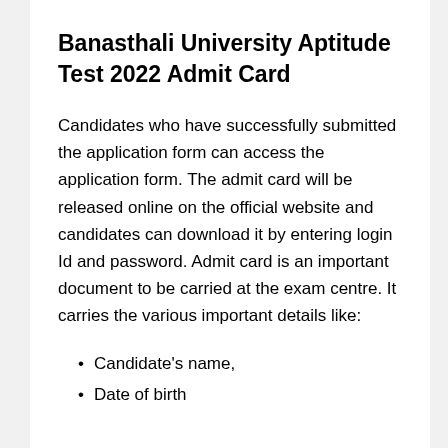Banasthali University Aptitude Test 2022 Admit Card
Candidates who have successfully submitted the application form can access the application form. The admit card will be released online on the official website and candidates can download it by entering login Id and password. Admit card is an important document to be carried at the exam centre. It carries the various important details like:
Candidate's name,
Date of birth